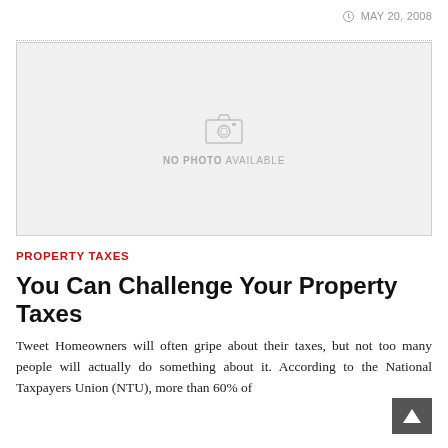MAY 20, 2008
[Figure (photo): No photo available placeholder image with camera icon]
PROPERTY TAXES
You Can Challenge Your Property Taxes
Tweet Homeowners will often gripe about their taxes, but not too many people will actually do something about it. According to the National Taxpayers Union (NTU), more than 60% of